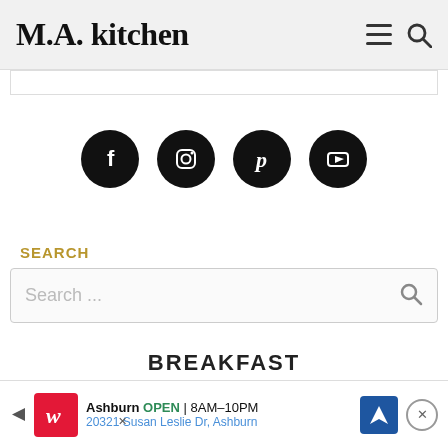M.A. kitchen
[Figure (infographic): Four social media icons (Facebook, Instagram, Pinterest, YouTube) as white icons on black circles]
SEARCH
Search ...
BREAKFAST
[Figure (infographic): Walgreens advertisement banner: Ashburn OPEN 8AM-10PM, 20321 Susan Leslie Dr, Ashburn]